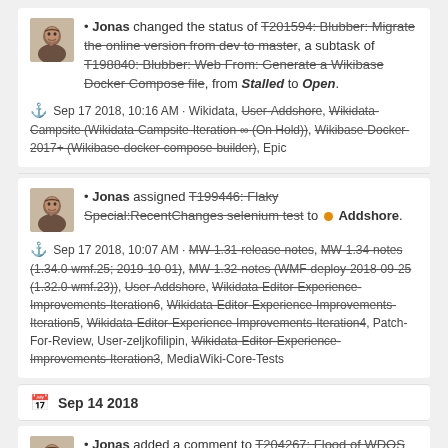Jonas changed the status of T201594: Blubber: Migrate the online version from dev to master, a subtask of T198840: Blubber: Web From: Generate a Wikibase Docker Compose file, from Stalled to Open.
Sep 17 2018, 10:16 AM · Wikidata, User-Addshore, Wikidata-Campsite (Wikidata-Campsite-Iteration-∞ (On Hold)), Wikibase-Docker-2017+ (Wikibase-docker-compose-builder), Epic
Jonas assigned T199446: Flaky Special:RecentChanges selenium test to Addshore.
Sep 17 2018, 10:07 AM · MW-1.31-release-notes, MW-1.34-notes (1.34.0-wmf.25; 2019-10-01), MW-1.32-notes (WMF-deploy-2018-09-25 (1.32.0-wmf.23)), User-Addshore, Wikidata-Editor-Experience-Improvements-Iteration6, Wikidata-Editor-Experience-Improvements-Iteration5, Wikidata-Editor-Experience-Improvements-Iteration4, Patch-For-Review, User-zeljkofilipin, Wikidata-Editor-Experience-Improvements-Iteration3, MediaWiki-Core-Tests
Sep 14 2018
Jonas added a comment to T204267: Flood of WDQS requests from wbqc.